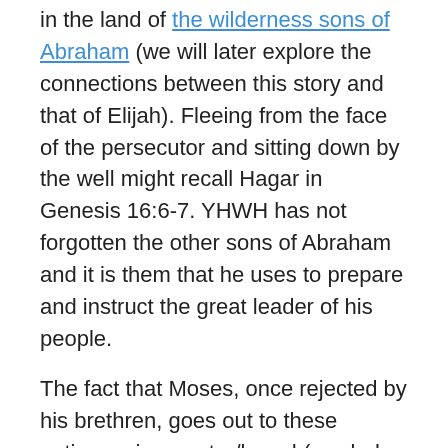in the land of the wilderness sons of Abraham (we will later explore the connections between this story and that of Elijah). Fleeing from the face of the persecutor and sitting down by the well might recall Hagar in Genesis 16:6-7. YHWH has not forgotten the other sons of Abraham and it is them that he uses to prepare and instruct the great leader of his people.
The fact that Moses, once rejected by his brethren, goes out to these nations, gives water/bread (symbols of life), and marries a foreign daughter of a high priest, with whom he has two sons (cf. Genesis 41:50-52; Exodus 18:3-4) also echoes the story of Joseph. Once again, we see the life of the covenant spreading to and blessing other peoples before it returns to the children of Israel who despised it at first.
Moses, like Joseph, became the flesh of his father's people...